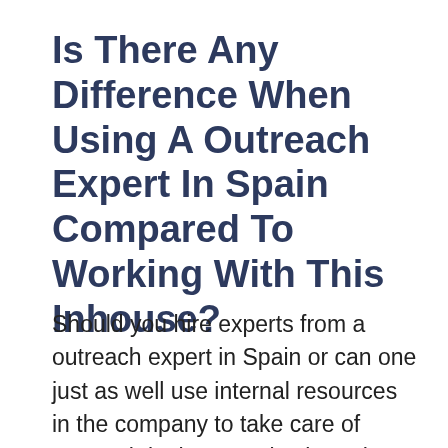Is There Any Difference When Using A Outreach Expert In Spain Compared To Working With This Inhouse?
Should you hire experts from a outreach expert in Spain or can one just as well use internal resources in the company to take care of outreach in the organization?The questions you